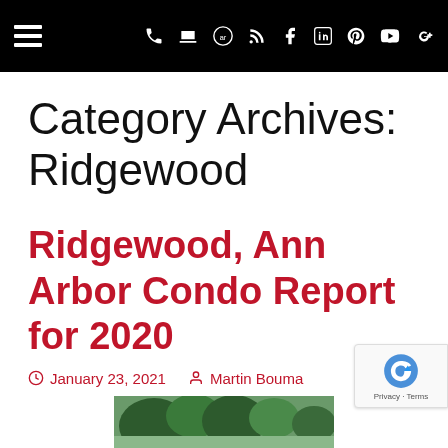Navigation bar with hamburger menu and social/contact icons
Category Archives: Ridgewood
Ridgewood, Ann Arbor Condo Report for 2020
January 23, 2021   Martin Bouma
[Figure (photo): Partial photo of trees/nature at bottom of page]